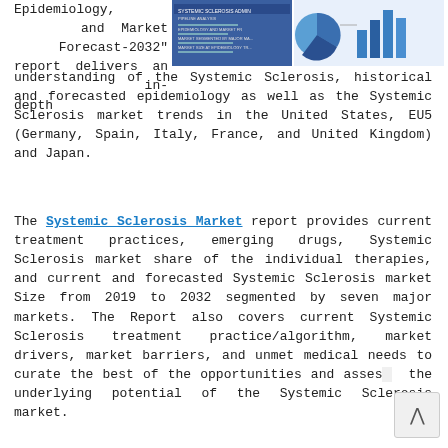Epidemiology, and Market Forecast-2032" report delivers an in-depth understanding of the Systemic Sclerosis, historical and forecasted epidemiology as well as the Systemic Sclerosis market trends in the United States, EU5 (Germany, Spain, Italy, France, and United Kingdom) and Japan.
[Figure (infographic): A small thumbnail image showing a report cover with a pie chart and data analytics illustration on the right side]
The Systemic Sclerosis Market report provides current treatment practices, emerging drugs, Systemic Sclerosis market share of the individual therapies, and current and forecasted Systemic Sclerosis market Size from 2019 to 2032 segmented by seven major markets. The Report also covers current Systemic Sclerosis treatment practice/algorithm, market drivers, market barriers, and unmet medical needs to curate the best of the opportunities and assess the underlying potential of the Systemic Sclerosis market.